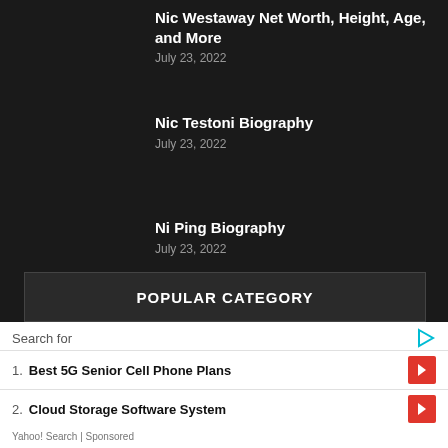Nic Westaway Net Worth, Height, Age, and More
July 23, 2022
Nic Testoni Biography
July 23, 2022
Ni Ping Biography
July 23, 2022
POPULAR CATEGORY
Search for
1. Best 5G Senior Cell Phone Plans
2. Cloud Storage Software System
Yahoo! Search | Sponsored